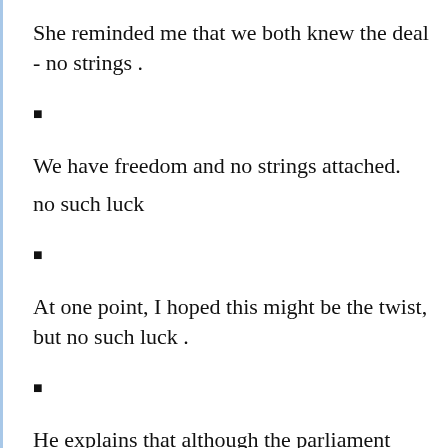She reminded me that we both knew the deal - no strings .
▪
We have freedom and no strings attached.
no such luck
▪
At one point, I hoped this might be the twist, but no such luck .
▪
He explains that although the parliament